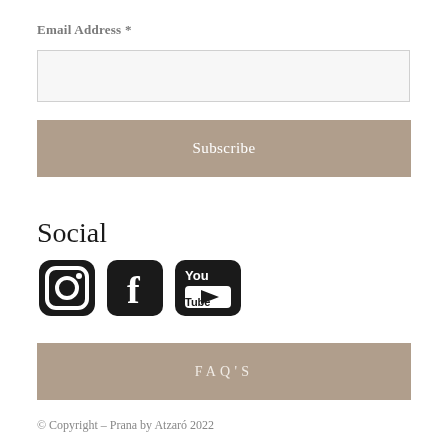Email Address *
Subscribe
Social
[Figure (illustration): Three social media icons: Instagram camera icon, Facebook 'f' icon, YouTube play button icon — all in black]
FAQ'S
© Copyright – Prana by Atzaró 2022